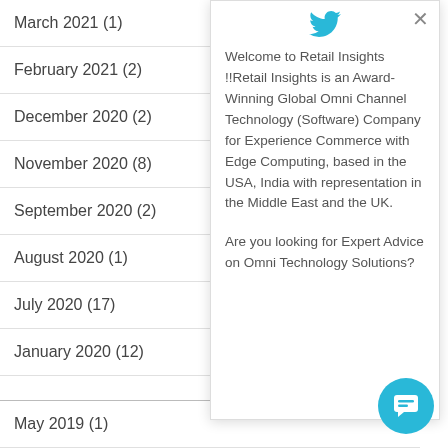March 2021 (1)
February 2021 (2)
December 2020 (2)
November 2020 (8)
September 2020 (2)
August 2020 (1)
July 2020 (17)
January 2020 (12)
May 2019 (1)
March 2019 (1)
January 2019 (2)
Welcome to Retail Insights !!Retail Insights is an Award-Winning Global Omni Channel Technology (Software) Company for Experience Commerce with Edge Computing, based in the USA, India with representation in the Middle East and the UK.

Are you looking for Expert Advice on Omni Technology Solutions?
[Figure (infographic): Chat button circle with chat icon, cyan/teal color]